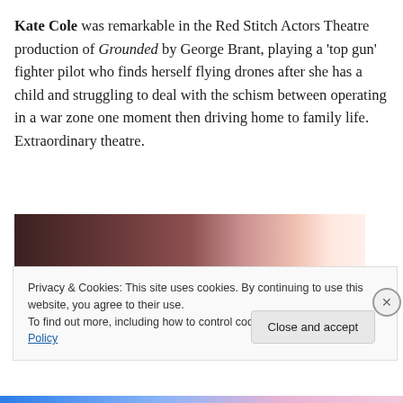Kate Cole was remarkable in the Red Stitch Actors Theatre production of Grounded by George Brant, playing a 'top gun' fighter pilot who finds herself flying drones after she has a child and struggling to deal with the schism between operating in a war zone one moment then driving home to family life. Extraordinary theatre.
[Figure (photo): Partial photo strip showing a dark brown/warm background scene, likely a stage or theatrical setting, fading to bright light on the right]
Privacy & Cookies: This site uses cookies. By continuing to use this website, you agree to their use.
To find out more, including how to control cookies, see here: Cookie Policy
Close and accept